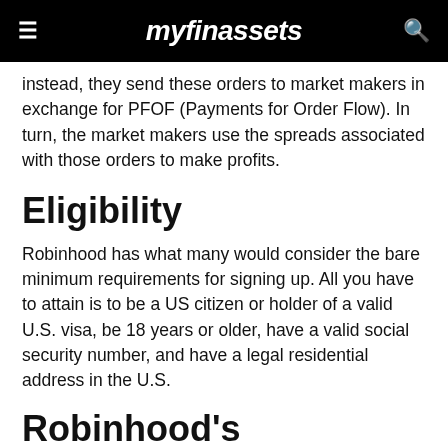myfinassets
instead, they send these orders to market makers in exchange for PFOF (Payments for Order Flow). In turn, the market makers use the spreads associated with those orders to make profits.
Eligibility
Robinhood has what many would consider the bare minimum requirements for signing up. All you have to attain is to be a US citizen or holder of a valid U.S. visa, be 18 years or older, have a valid social security number, and have a legal residential address in the U.S.
Robinhood's Advantages
New members are given a free stock, which, as the platform says, has a 1% chance of being worth up to